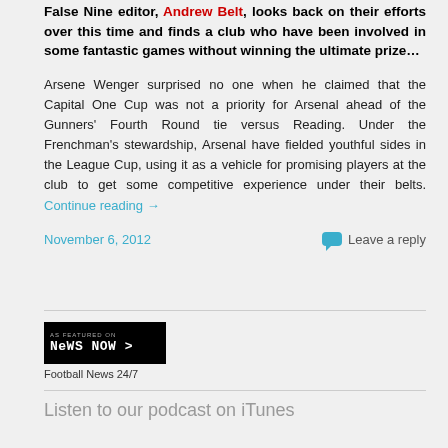False Nine editor, Andrew Belt, looks back on their efforts over this time and finds a club who have been involved in some fantastic games without winning the ultimate prize…
Arsene Wenger surprised no one when he claimed that the Capital One Cup was not a priority for Arsenal ahead of the Gunners' Fourth Round tie versus Reading. Under the Frenchman's stewardship, Arsenal have fielded youthful sides in the League Cup, using it as a vehicle for promising players at the club to get some competitive experience under their belts. Continue reading →
November 6, 2012    Leave a reply
[Figure (logo): AS FEATURED ON News Now > badge in black background]
Football News 24/7
Listen to our podcast on iTunes